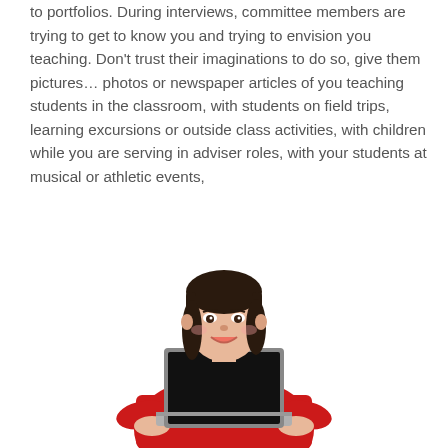to portfolios. During interviews, committee members are trying to get to know you and trying to envision you teaching. Don't trust their imaginations to do so, give them pictures… photos or newspaper articles of you teaching students in the classroom, with students on field trips, learning excursions or outside class activities, with children while you are serving in adviser roles, with your students at musical or athletic events,
[Figure (photo): A smiling teenage girl with dark hair, wearing a red sweater, holding open a laptop computer with a black screen, photographed against a white background.]